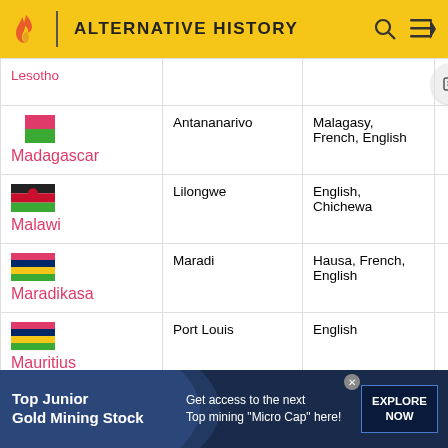ALTERNATIVE HISTORY
| Country | Capital | Languages |  |
| --- | --- | --- | --- |
| Lesotho |  |  |  |
| Madagascar | Antananarivo | Malagasy, French, English |  |
| Malawi | Lilongwe | English, Chichewa |  |
| Maradikasa | Maradi | Hausa, French, English |  |
| Mauritius | Port Louis | English |  |
| (flag) | Monrovia | English, Kpelle, | Safe Hart |